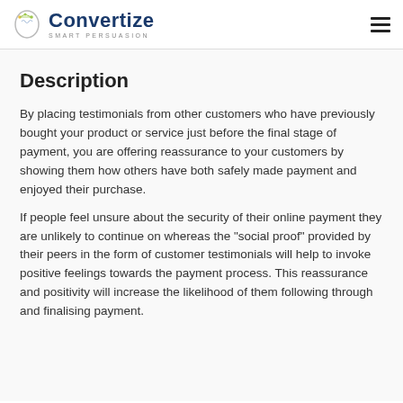Convertize SMART PERSUASION
Description
By placing testimonials from other customers who have previously bought your product or service just before the final stage of payment, you are offering reassurance to your customers by showing them how others have both safely made payment and enjoyed their purchase.
If people feel unsure about the security of their online payment they are unlikely to continue on whereas the "social proof" provided by their peers in the form of customer testimonials will help to invoke positive feelings towards the payment process. This reassurance and positivity will increase the likelihood of them following through and finalising payment.